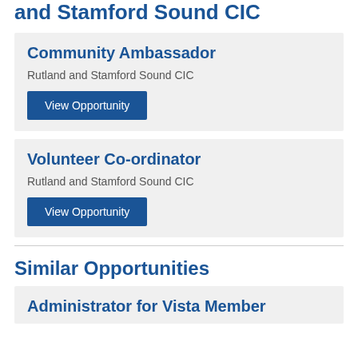and Stamford Sound CIC
Community Ambassador
Rutland and Stamford Sound CIC
View Opportunity
Volunteer Co-ordinator
Rutland and Stamford Sound CIC
View Opportunity
Similar Opportunities
Administrator for Vista Member